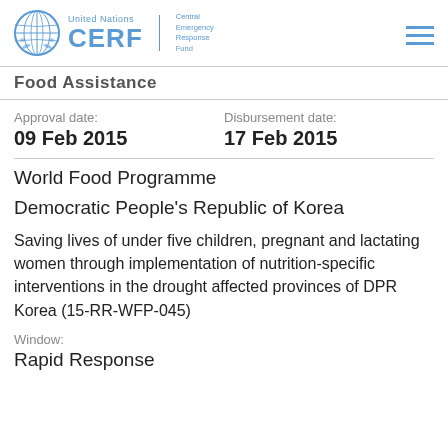United Nations CERF Central Emergency Response Fund
Food Assistance
Approval date: 09 Feb 2015
Disbursement date: 17 Feb 2015
World Food Programme
Democratic People's Republic of Korea
Saving lives of under five children, pregnant and lactating women through implementation of nutrition-specific interventions in the drought affected provinces of DPR Korea (15-RR-WFP-045)
Window: Rapid Response